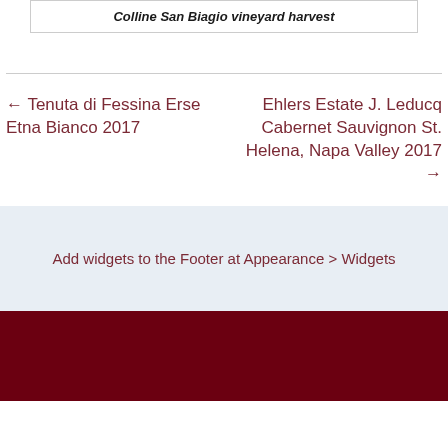Colline San Biagio vineyard harvest
← Tenuta di Fessina Erse Etna Bianco 2017
Ehlers Estate J. Leducq Cabernet Sauvignon St. Helena, Napa Valley 2017 →
Add widgets to the Footer at Appearance > Widgets